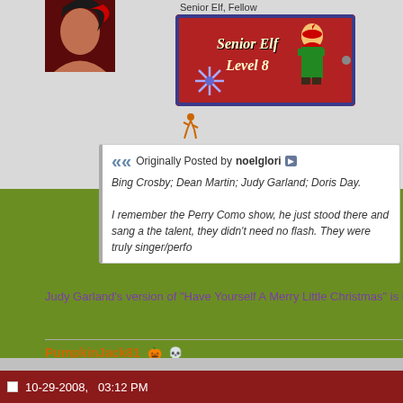Senior Elf, Fellow
[Figure (illustration): Red badge with elf illustration reading 'Senior Elf Level 8' with snowflake and dot decoration]
[Figure (illustration): Small orange walking figure icon]
Originally Posted by noelglori
Bing Crosby; Dean Martin; Judy Garland; Doris Day.

I remember the Perry Como show, he just stood there and sang a the talent, they didn't need no flash. They were truly singer/perfo
Judy Garland's version of "Have Yourself A Merry Little Christmas" is my absol
PumpkinJack81
Bob, Forum Moderator
AllThingsChristmas.com
10-29-2008,   03:12 PM